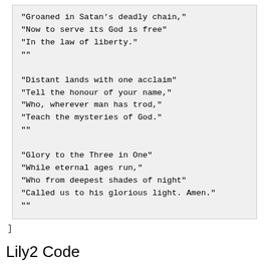"Groaned in Satan's deadly chain,"
"Now to serve its God is free"
"In the law of liberty."
""
"Distant lands with one acclaim"
"Tell the honour of your name,"
"Who, wherever man has trod,"
"Teach the mysteries of God."
""
"Glory to the Three in One"
"While eternal ages run,"
"Who from deepest shades of night"
"Called us to his glorious light. Amen."
""
]
Lily2 Code